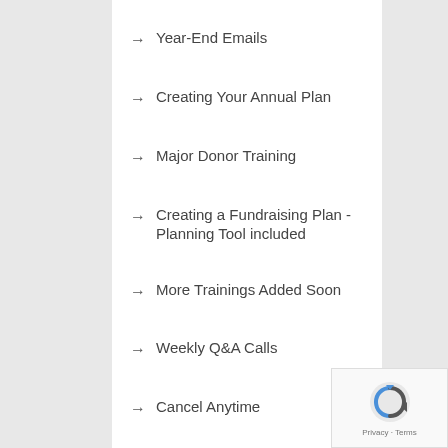Year-End Emails
Creating Your Annual Plan
Major Donor Training
Creating a Fundraising Plan - Planning Tool included
More Trainings Added Soon
Weekly Q&A Calls
Cancel Anytime